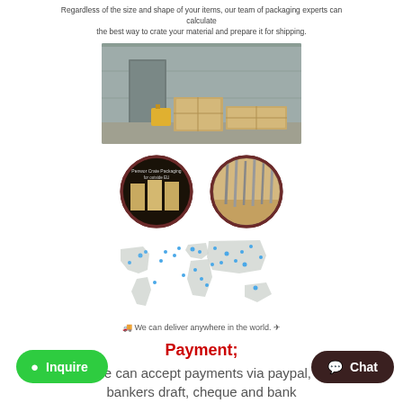Regardless of the size and shape of your items, our team of packaging experts can calculate the best way to crate your material and prepare it for shipping.
[Figure (photo): Wooden crates on a loading dock outside a warehouse building]
[Figure (photo): Two circular photos: left shows Penwor Crate Packaging for outside EU signage with crates; right shows close-up of metal nails/screws in wood]
[Figure (map): World map with blue location pin markers indicating global delivery locations]
🚚 We can deliver anywhere in the world. ✈
Payment;
We can accept payments via paypal, bankers draft, cheque and bank transfer into our business account. The sale will be submitted for processing as soon as you made the